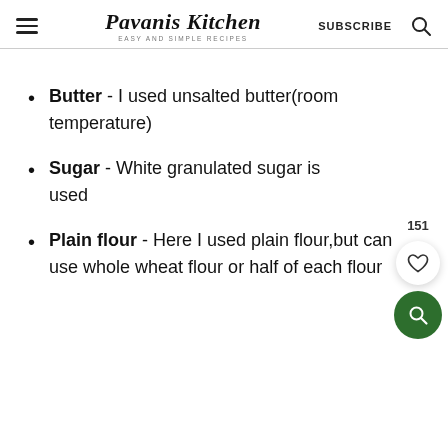Pavanis Kitchen - EASY AND SIMPLE RECIPES - SUBSCRIBE
Butter - I used unsalted butter(room temperature)
Sugar - White granulated sugar is used
Plain flour - Here I used plain flour,but can use whole wheat flour or half of each flour